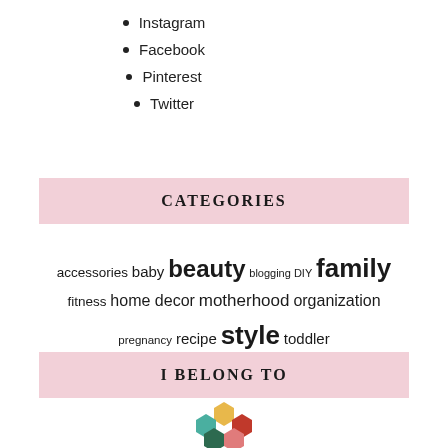Instagram
Facebook
Pinterest
Twitter
CATEGORIES
accessories baby beauty blogging DIY family fitness home decor motherhood organization pregnancy recipe style toddler
I BELONG TO
[Figure (logo): Colorful hexagonal flower/rosette logo made of overlapping hexagon shapes in teal, yellow, red/orange, and dark green colors]